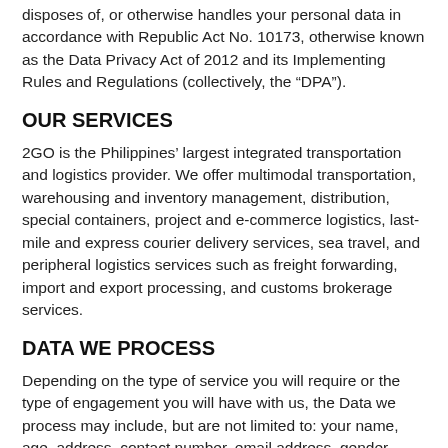disposes of, or otherwise handles your personal data in accordance with Republic Act No. 10173, otherwise known as the Data Privacy Act of 2012 and its Implementing Rules and Regulations (collectively, the “DPA”).
OUR SERVICES
2GO is the Philippines’ largest integrated transportation and logistics provider. We offer multimodal transportation, warehousing and inventory management, distribution, special containers, project and e-commerce logistics, last-mile and express courier delivery services, sea travel, and peripheral logistics services such as freight forwarding, import and export processing, and customs brokerage services.
DATA WE PROCESS
Depending on the type of service you will require or the type of engagement you will have with us, the Data we process may include, but are not limited to: your name, age, address, contact number, email address, gender, birthdate, company